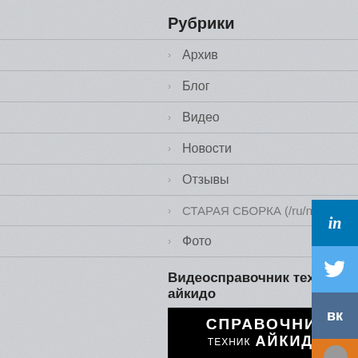Рубрики
Архив
Блог
Видео
Новости
Отзывы
СТАРАЯ СБОРКА (/ru/node)
Фото
Видеосправочник техник айкидо
[Figure (illustration): Black banner with white text reading СПРАВОЧНИК ТЕХНИК АЙКИДО]